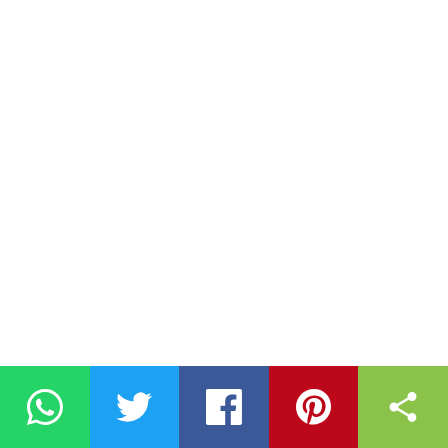Portugal has not lost their patience even after being
[Figure (infographic): Social sharing bar with WhatsApp, Twitter, Facebook, Pinterest, and share buttons]